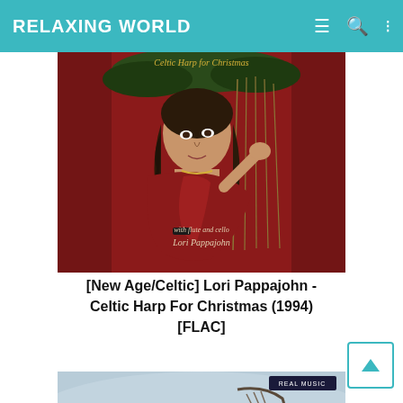RELAXING WORLD
[Figure (photo): Album cover for Celtic Harp for Christmas by Lori Pappajohn. Shows a Pre-Raphaelite style painting of a dark-haired woman in a red dress playing a harp against a red floral background. Text reads 'Celtic Harp for Christmas with flute and cello Lori Pappajohn'.]
[New Age/Celtic] Lori Pappajohn - Celtic Harp For Christmas (1994) [FLAC]
[Figure (photo): Partial album cover showing 'Shadow, Mist & Light' text with a person and harp visible. Real Music label visible in top right corner.]